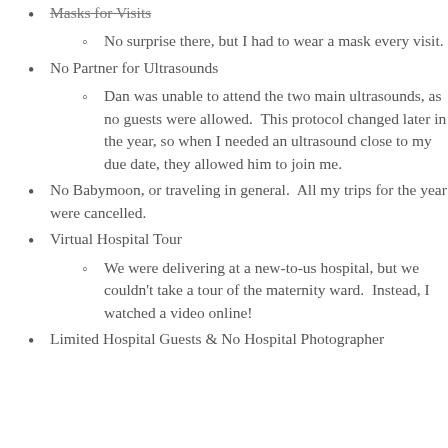Masks for Visits
No surprise there, but I had to wear a mask every visit.
No Partner for Ultrasounds
Dan was unable to attend the two main ultrasounds, as no guests were allowed.  This protocol changed later in the year, so when I needed an ultrasound close to my due date, they allowed him to join me.
No Babymoon, or traveling in general.  All my trips for the year were cancelled.
Virtual Hospital Tour
We were delivering at a new-to-us hospital, but we couldn't take a tour of the maternity ward.  Instead, I watched a video online!
Limited Hospital Guests & No Hospital Photographer